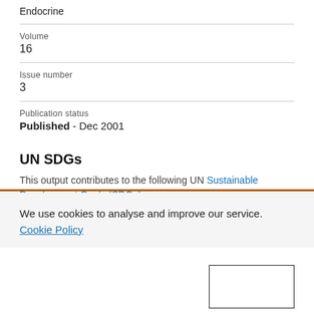Endocrine
Volume
16
Issue number
3
Publication status
Published - Dec 2001
UN SDGs
This output contributes to the following UN Sustainable Development Goals (SDGs)
We use cookies to analyse and improve our service. Cookie Policy